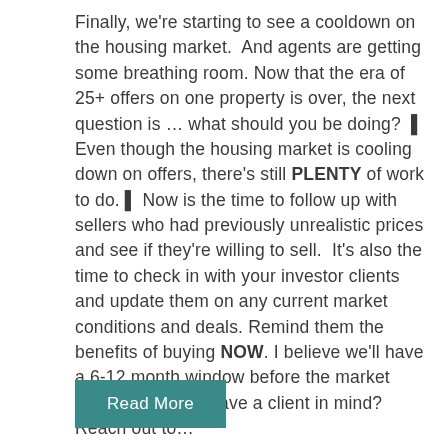Finally, we're starting to see a cooldown on the housing market.  And agents are getting some breathing room. Now that the era of 25+ offers on one property is over, the next question is … what should you be doing?  ◼ Even though the housing market is cooling down on offers, there's still PLENTY of work to do. ◼ Now is the time to follow up with sellers who had previously unrealistic prices and see if they're willing to sell.  It's also the time to check in with your investor clients and update them on any current market conditions and deals. Remind them the benefits of buying NOW. I believe we'll have a 6-12 month window before the market takes off again.  Have a client in mind?  Reach out to…
Read More